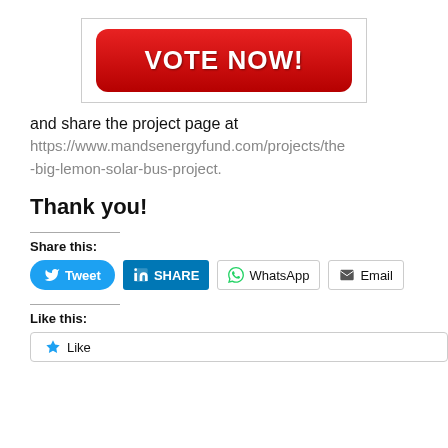[Figure (illustration): A red 'VOTE NOW!' button inside a bordered box]
and share the project page at https://www.mandsenergyfund.com/projects/the-big-lemon-solar-bus-project.
Thank you!
Share this:
[Figure (infographic): Social share buttons: Tweet, SHARE (LinkedIn), WhatsApp, Email]
Like this:
[Figure (infographic): Like button with star icon]